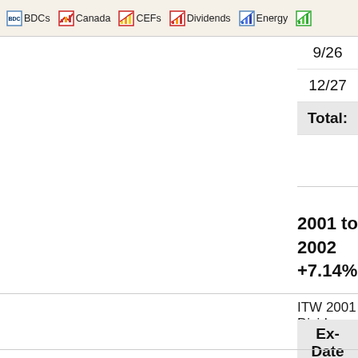BDCs | Canada | CEFs | Dividends | Energy | ...
| Ex-Date |
| --- |
| 9/26 |
| 12/27 |
| Total: |
2001 to 2002
+7.14%
ITW 2001 Divide
| Ex-Date |
| --- |
| 3/28 |
| 6/27 |
| 9/26 |
| 12/27 |
| Total: |